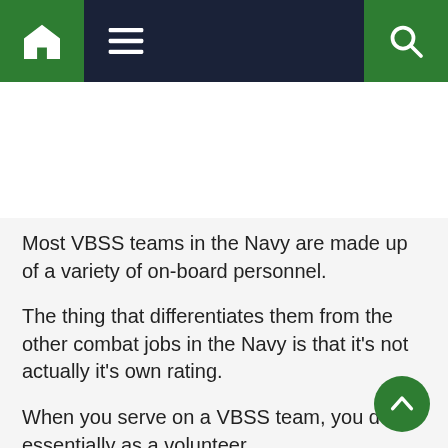Navigation bar with home, menu, and search icons
Most VBSS teams in the Navy are made up of a variety of on-board personnel.
The thing that differentiates them from the other combat jobs in the Navy is that it's not actually it's own rating.
When you serve on a VBSS team, you do so essentially as a volunteer.
While not operating in the capacity of a VBSS team, you'll be doing whatever your full time rating and/or job is.